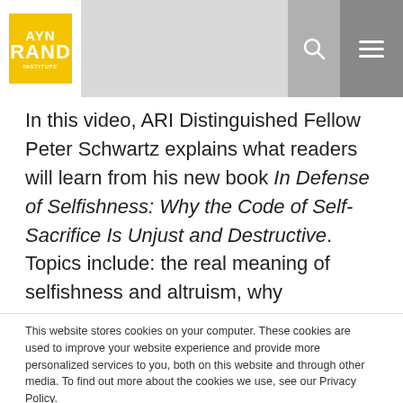AYN RAND INSTITUTE
In this video, ARI Distinguished Fellow Peter Schwartz explains what readers will learn from his new book In Defense of Selfishness: Why the Code of Self-Sacrifice Is Unjust and Destructive. Topics include: the real meaning of selfishness and altruism, why selfishness requires moral principles and why “the public interest” is a myth.
This website stores cookies on your computer. These cookies are used to improve your website experience and provide more personalized services to you, both on this website and through other media. To find out more about the cookies we use, see our Privacy Policy.
We won’t track your information when you visit our site. But in order to comply with your preferences, we’ll have to use just one tiny cookie so that you’re not asked to make this choice again.